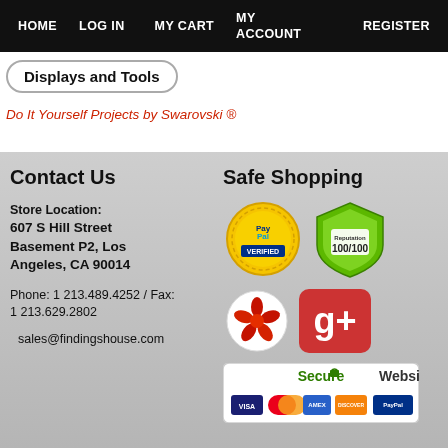HOME   LOG IN   MY CART   MY REGISTER   ACCOUNT
Displays and Tools
Do It Yourself Projects by Swarovski ®
Contact Us
Store Location:
607 S Hill Street Basement P2, Los Angeles, CA 90014
Phone: 1 213.489.4252 / Fax: 1 213.629.2802
sales@findingshouse.com
Safe Shopping
[Figure (logo): PayPal Verified gold seal badge]
[Figure (logo): Reputation 100/100 green shield badge]
[Figure (logo): Yelp logo icon]
[Figure (logo): Google Plus logo icon]
[Figure (logo): Secure Website banner with VISA, MasterCard, AmEx, Discover, PayPal icons]